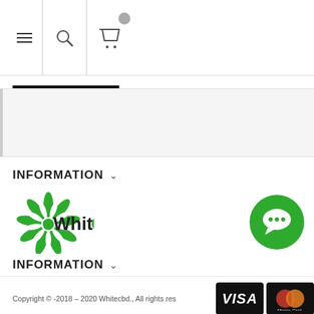Navigation bar with hamburger menu, search icon, and cart icon
[Figure (screenshot): Website header bar with hamburger menu icon, search icon, and shopping cart icon with badge]
[Figure (screenshot): Tab/slider bar with active black underline indicator]
[Figure (screenshot): Gray mid-section content area with left border]
INFORMATION
[Figure (logo): WhiteCBD logo with green cannabis leaf graphic on left and 'White' in black, 'CBD' in green text]
[Figure (other): Green circular chat/message button icon]
INFORMATION
Copyright © -2018 - 2020 Whitecbd., All rights res
[Figure (other): VISA and MasterCard payment icons on black background]